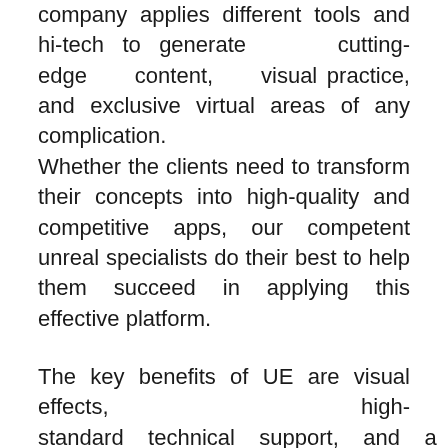company applies different tools and hi-tech to generate cutting-edge content, visual practice, and exclusive virtual areas of any complication.
Whether the clients need to transform their concepts into high-quality and competitive apps, our competent unreal specialists do their best to help them succeed in applying this effective platform.
The key benefits of UE are visual effects, high-standard technical support, and a wide multifunctional toolset. UE features contribute to the delivery of stunning visual effects, content in smooth work with product performance.
Speaking about technical support, the clear